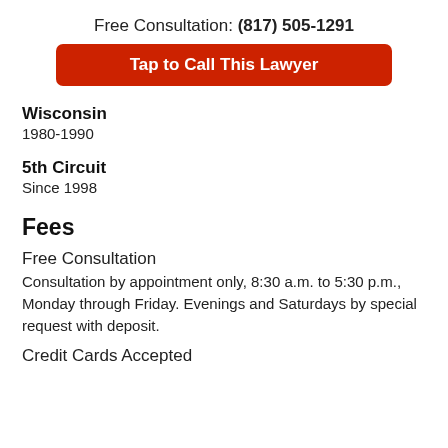Free Consultation: (817) 505-1291
[Figure (other): Red button labeled 'Tap to Call This Lawyer']
Wisconsin
1980-1990
5th Circuit
Since 1998
Fees
Free Consultation
Consultation by appointment only, 8:30 a.m. to 5:30 p.m., Monday through Friday. Evenings and Saturdays by special request with deposit.
Credit Cards Accepted